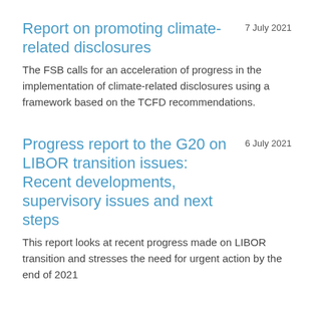Report on promoting climate-related disclosures
7 July 2021
The FSB calls for an acceleration of progress in the implementation of climate-related disclosures using a framework based on the TCFD recommendations.
Progress report to the G20 on LIBOR transition issues: Recent developments, supervisory issues and next steps
6 July 2021
This report looks at recent progress made on LIBOR transition and stresses the need for urgent action by the end of 2021